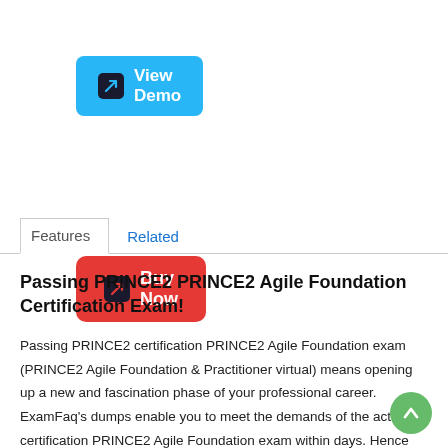[Figure (other): Blue 'View Demo' button with dark icon showing external link arrow]
[Figure (other): Red 'Buy Now' button with dark icon showing external link arrow]
Features   Related
Passing PRINCE2 PRINCE2 Agile Foundation Certification Exam!
Passing PRINCE2 certification PRINCE2 Agile Foundation exam (PRINCE2 Agile Foundation & Practitioner virtual) means opening up a new and fascination phase of your professional career. ExamFaq's dumps enable you to meet the demands of the actual certification PRINCE2 Agile Foundation exam within days. Hence they are your real ally for establishing your career pathway and get your potential attested.